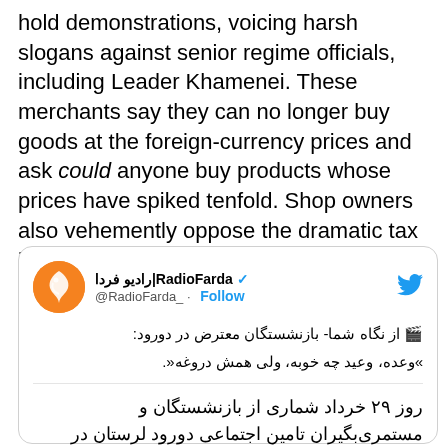hold demonstrations, voicing harsh slogans against senior regime officials, including Leader Khamenei. These merchants say they can no longer buy goods at the foreign-currency prices and ask could anyone buy products whose prices have spiked tenfold. Shop owners also vehemently oppose the dramatic tax increase that the Raisi government wants to impose on them to bolster its revenues.
[Figure (screenshot): Embedded tweet from RadioFarda (@RadioFarda_) with verified badge and Follow button. Contains Persian text about retirees protesting in Doroud on the 29th of Khordad.]